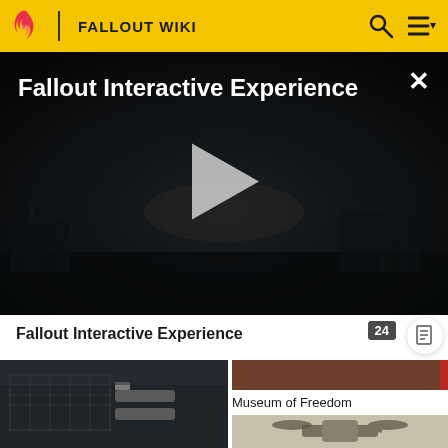FALLOUT WIKI
[Figure (screenshot): Video player showing dark post-apocalyptic scene with title 'Fallout Interactive Experience' and a play button in the center. An X close button in the top-right corner.]
Fallout Interactive Experience
[Figure (photo): Left thumbnail: dark image showing some kind of post-apocalyptic machinery or weapons on a rooftop structure]
[Figure (screenshot): Right top thumbnail: dark brownish image]
Museum of Freedom
[Figure (photo): Right bottom thumbnail: beige/light colored image showing what appears to be an aircraft or flying vehicle with propellers]